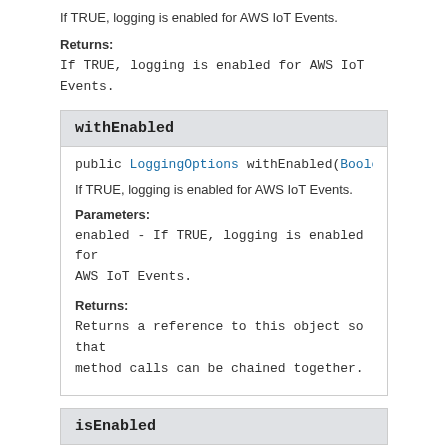If TRUE, logging is enabled for AWS IoT Events.
Returns:
If TRUE, logging is enabled for AWS IoT Events.
withEnabled
public LoggingOptions withEnabled(Boolean enabled
If TRUE, logging is enabled for AWS IoT Events.
Parameters:
enabled - If TRUE, logging is enabled for AWS IoT Events.
Returns:
Returns a reference to this object so that method calls can be chained together.
isEnabled